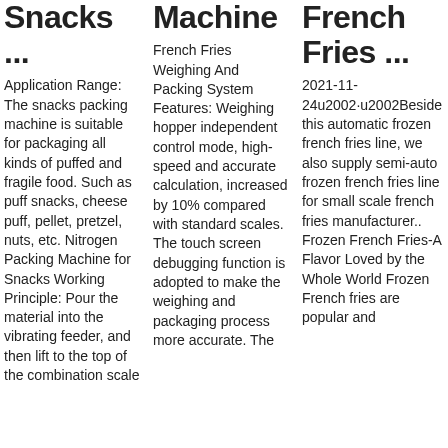Snacks ...
Application Range: The snacks packing machine is suitable for packaging all kinds of puffed and fragile food. Such as puff snacks, cheese puff, pellet, pretzel, nuts, etc. Nitrogen Packing Machine for Snacks Working Principle: Pour the material into the vibrating feeder, and then lift to the top of the combination scale
Machine
French Fries Weighing And Packing System Features: Weighing hopper independent control mode, high-speed and accurate calculation, increased by 10% compared with standard scales. The touch screen debugging function is adopted to make the weighing and packaging process more accurate. The
French Fries ...
2021-11-24u2002·u2002Beside this automatic frozen french fries line, we also supply semi-auto frozen french fries line for small scale french fries manufacturer.. Frozen French Fries-A Flavor Loved by the Whole World Frozen French fries are popular and